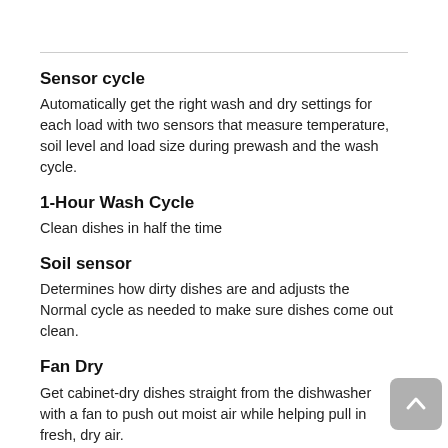Sensor cycle
Automatically get the right wash and dry settings for each load with two sensors that measure temperature, soil level and load size during prewash and the wash cycle.
1-Hour Wash Cycle
Clean dishes in half the time
Soil sensor
Determines how dirty dishes are and adjusts the Normal cycle as needed to make sure dishes come out clean.
Fan Dry
Get cabinet-dry dishes straight from the dishwasher with a fan to push out moist air while helping pull in fresh, dry air.
Fingerprint resistant
Available in sunset bronze, black stainless steel and stainless steel finishes, easy-to-clean steel resists